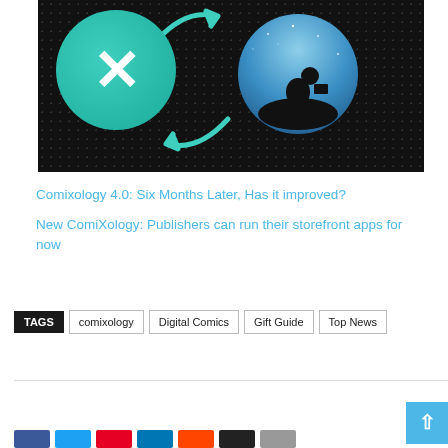[Figure (illustration): ComiXology app logo (teal circle with white X) next to a reading app icon (silhouette of person reading on a blue starry circle), with teal arrows between them, on a dark dotted background]
Comixology 4.0: Six Months Later, Has it improved?
New ComiXology: Publishers can run their storefront apps for now
TAGS  comixology  Digital Comics  Gift Guide  Top News